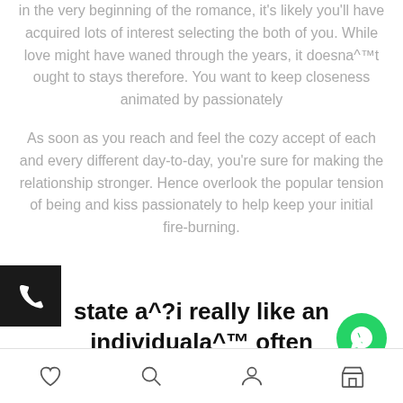in the very beginning of the romance, it's likely you'll have acquired lots of interest selecting the both of you. While love might have waned through the years, it doesna^™t ought to stays therefore. You want to keep closeness animated by passionately
As soon as you reach and feel the cozy accept of each and every different day-to-day, you're sure for making the relationship stronger. Hence overlook the popular tension of being and kiss passionately to help keep your initial fire-burning.
state a^?i really like an individuala^™ often
[Figure (other): Phone call floating button (dark background with white phone icon)]
[Figure (other): WhatsApp floating button (green circle with white WhatsApp icon)]
Bottom navigation bar with heart, search, user, and store icons